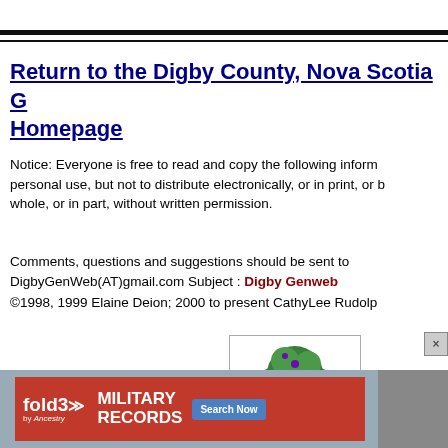Return to the Digby County, Nova Scotia GenWeb Homepage
Notice:  Everyone is free to read and copy the following information for personal use, but not to distribute electronically, or in print, or broadcast in whole, or in part, without written permission.
Comments, questions and suggestions should be sent to DigbyGenWeb(AT)gmail.com Subject : Digby Genweb ©1998, 1999 Elaine Deion; 2000 to present CathyLee Rudolph
[Figure (logo): RootsWeb logo — tree with green foliage and orange trunk, text ROOTSWEB below]
Hosted by RootsWeb
[Figure (screenshot): Fold3 by Ancestry advertisement banner for Military Records with Search Now button]